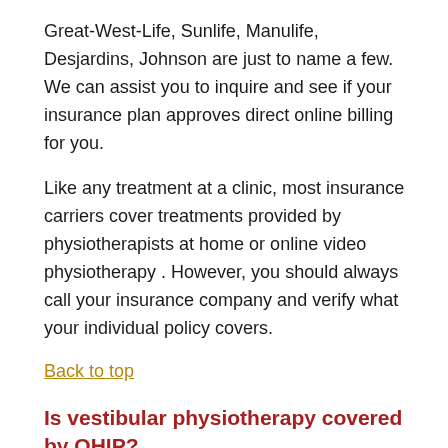Great-West-Life, Sunlife, Manulife, Desjardins, Johnson are just to name a few. We can assist you to inquire and see if your insurance plan approves direct online billing for you.
Like any treatment at a clinic, most insurance carriers cover treatments provided by physiotherapists at home or online video physiotherapy . However, you should always call your insurance company and verify what your individual policy covers.
Back to top
Is vestibular physiotherapy covered by OHIP?
Vestibular physiotherapy is not covered by OHIP. We